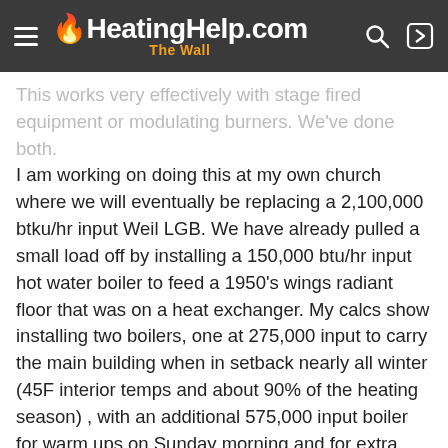HeatingHelp.com The Wall
This works very effectively with stage fired equipment or modulating burners. We've done both. I am working on doing this at my own church where we will eventually be replacing a 2,100,000 btku/hr input Weil LGB. We have already pulled a small load off by installing a 150,000 btu/hr input hot water boiler to feed a 1950's wings radiant floor that was on a heat exchanger. My calcs show installing two boilers, one at 275,000 input to carry the main building when in setback nearly all winter (45F interior temps and about 90% of the heating season) , with an additional 575,000 input boiler for warm ups on Sunday morning and for extra capacity in extreme weather. The orifices will allow us to run the low input boilers and still provide even heating to all the radiators and convectors since the orifices will meter the steam to each heating unit based on the pressure difference.